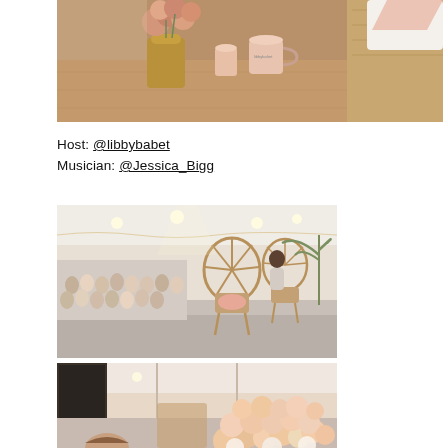[Figure (photo): Close-up of a wooden table with a gold vase holding pink/peach roses, a pink mug, and a wicker chair with white cushion in background]
Host: @libbybabet
Musician: @Jessica_Bigg
[Figure (photo): Event venue with audience seated facing a stage area with decorative rattan/peacock chairs and palm plant]
[Figure (photo): Room interior with balloon arch in peach/cream tones and chairs visible]